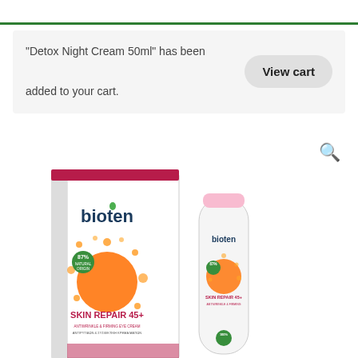"Detox Night Cream 50ml" has been added to your cart.
View cart
[Figure (photo): Bioten Skin Repair 45+ Antiwrinkle & Firming Eye Cream product packaging — a white box with dark red top and a white tube, both featuring the Bioten logo with a green leaf, orange circular burst design, 87% natural ingredients badge, and SKIN REPAIR 45+ branding.]